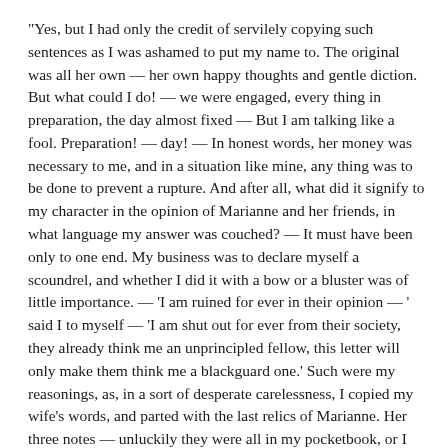"Yes, but I had only the credit of servilely copying such sentences as I was ashamed to put my name to. The original was all her own — her own happy thoughts and gentle diction. But what could I do! — we were engaged, every thing in preparation, the day almost fixed — But I am talking like a fool. Preparation! — day! — In honest words, her money was necessary to me, and in a situation like mine, any thing was to be done to prevent a rupture. And after all, what did it signify to my character in the opinion of Marianne and her friends, in what language my answer was couched? — It must have been only to one end. My business was to declare myself a scoundrel, and whether I did it with a bow or a bluster was of little importance. — 'I am ruined for ever in their opinion — ' said I to myself — 'I am shut out for ever from their society, they already think me an unprincipled fellow, this letter will only make them think me a blackguard one.' Such were my reasonings, as, in a sort of desperate carelessness, I copied my wife's words, and parted with the last relics of Marianne. Her three notes — unluckily they were all in my pocketbook, or I should have denied their